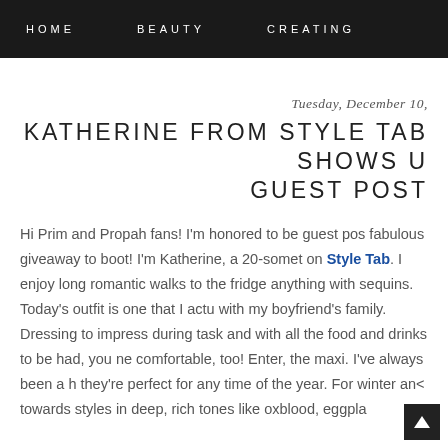HOME   BEAUTY   CREATING
Tuesday, December 10,
KATHERINE FROM STYLE TAB SHOWS U GUEST POST
Hi Prim and Propah fans! I'm honored to be guest pos fabulous giveaway to boot! I'm Katherine, a 20-somet on Style Tab. I enjoy long romantic walks to the fridge anything with sequins. Today's outfit is one that I actu with my boyfriend's family. Dressing to impress during task and with all the food and drinks to be had, you ne comfortable, too! Enter, the maxi. I've always been a h they're perfect for any time of the year. For winter and towards styles in deep, rich tones like oxblood, eggpla